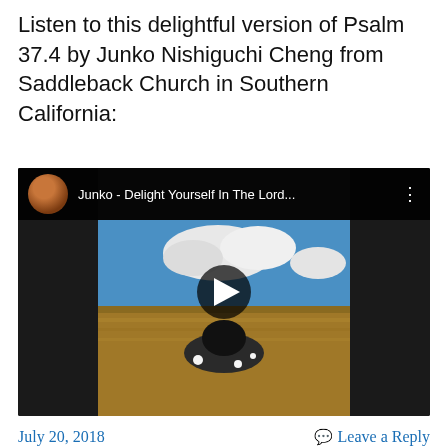Listen to this delightful version of Psalm 37.4 by Junko Nishiguchi Cheng from Saddleback Church in Southern California:
[Figure (screenshot): YouTube video embed showing 'Junko - Delight Yourself In The Lord...' with a thumbnail of a person lying in a field of wheat and wildflowers under a blue sky with clouds. A circular avatar is shown in the top-left of the video bar, along with a play button overlay and three-dot menu icon.]
July 20, 2018
Leave a Reply
No fear in love